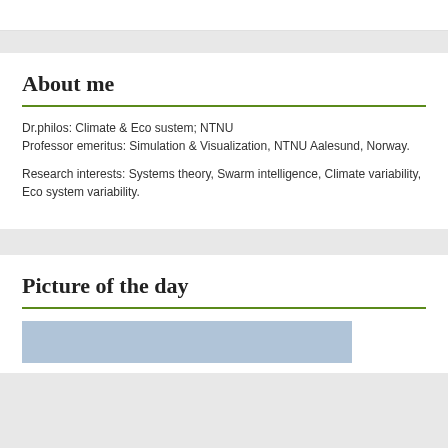About me
Dr.philos: Climate & Eco sustem; NTNU
Professor emeritus: Simulation & Visualization, NTNU Aalesund, Norway.
Research interests: Systems theory, Swarm intelligence, Climate variability, Eco system variability.
Picture of the day
[Figure (photo): Outdoor sky/landscape photo, partially visible at bottom of page]